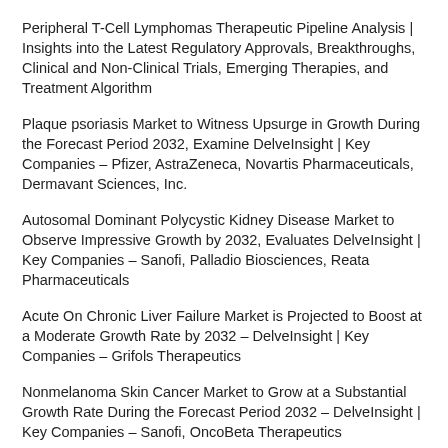Peripheral T-Cell Lymphomas Therapeutic Pipeline Analysis | Insights into the Latest Regulatory Approvals, Breakthroughs, Clinical and Non-Clinical Trials, Emerging Therapies, and Treatment Algorithm
Plaque psoriasis Market to Witness Upsurge in Growth During the Forecast Period 2032, Examine DelveInsight | Key Companies – Pfizer, AstraZeneca, Novartis Pharmaceuticals, Dermavant Sciences, Inc.
Autosomal Dominant Polycystic Kidney Disease Market to Observe Impressive Growth by 2032, Evaluates DelveInsight | Key Companies – Sanofi, Palladio Biosciences, Reata Pharmaceuticals
Acute On Chronic Liver Failure Market is Projected to Boost at a Moderate Growth Rate by 2032 – DelveInsight | Key Companies – Grifols Therapeutics
Nonmelanoma Skin Cancer Market to Grow at a Substantial Growth Rate During the Forecast Period 2032 – DelveInsight | Key Companies – Sanofi, OncoBeta Therapeutics
Peritoneal Carcinomatosis Market to Register Incremental Growth During the Forecast Period 2032,